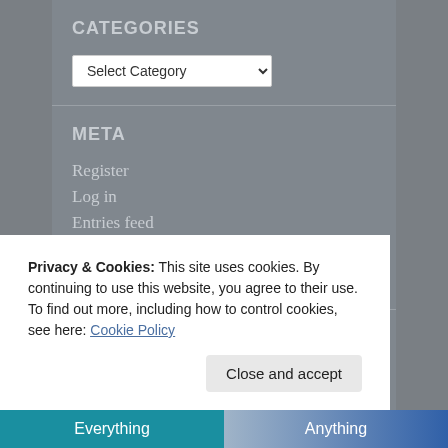CATEGORIES
[Figure (screenshot): A dropdown select element labeled 'Select Category' with a chevron arrow]
META
Register
Log in
Entries feed
Comments feed
WordPress.com
My Tweets
Privacy & Cookies: This site uses cookies. By continuing to use this website, you agree to their use.
To find out more, including how to control cookies, see here: Cookie Policy
Close and accept
Everything
Anything